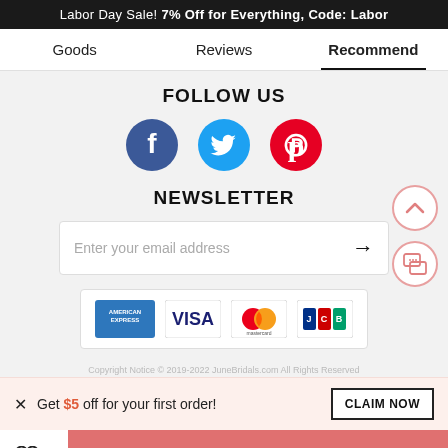Labor Day Sale! 7% Off for Everything, Code: Labor
Goods
Reviews
Recommend
FOLLOW US
[Figure (illustration): Social media icons: Facebook (blue circle), Twitter (cyan circle), Pinterest (red circle)]
NEWSLETTER
Enter your email address
[Figure (illustration): Payment method logos: American Express, Visa, Mastercard, JCB]
Copyright Notice © 2019-2022 JuneBridals.com All Rights Reserved
Get $5 off for your first order!
CLAIM NOW
6
ADD TO BAG